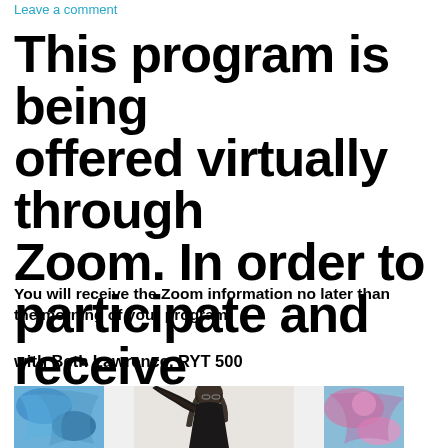Leave a comment
This program is being offered virtually through Zoom. In order to participate and receive the Zoom link, register by clicking the RSVP button above or by emailing programs@smithcenter.org
You will receive the Zoom information no later than the morning of your program.
with Beth Lawrence, RYT 500
[Figure (photo): Photo of Beth Lawrence doing a yoga stretch pose, with colorful abstract paintings in the background]